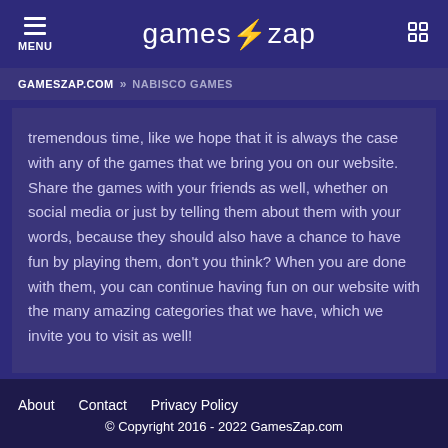MENU | games⚡zap
GAMESZAP.COM » NABISCO GAMES
tremendous time, like we hope that it is always the case with any of the games that we bring you on our website. Share the games with your friends as well, whether on social media or just by telling them about them with your words, because they should also have a chance to have fun by playing them, don't you think? When you are done with them, you can continue having fun on our website with the many amazing categories that we have, which we invite you to visit as well!
About   Contact   Privacy Policy
© Copyright 2016 - 2022 GamesZap.com